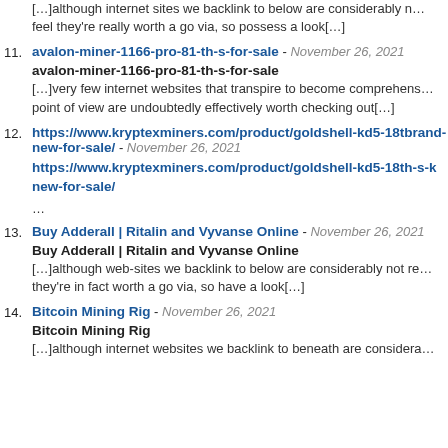[…]although internet sites we backlink to below are considerably not really worth a go via, so possess a look[…]
11. avalon-miner-1166-pro-81-th-s-for-sale - November 26, 2021
avalon-miner-1166-pro-81-th-s-for-sale
[…]very few internet websites that transpire to become comprehensively from our point of view are undoubtedly effectively worth checking out[…]
12. https://www.kryptexminers.com/product/goldshell-kd5-18th-s-k-brand-new-for-sale/ - November 26, 2021
https://www.kryptexminers.com/product/goldshell-kd5-18th-s-k-new-for-sale/
…
13. Buy Adderall | Ritalin and Vyvanse Online - November 26, 2021
Buy Adderall | Ritalin and Vyvanse Online
[…]although web-sites we backlink to below are considerably not re… they're in fact worth a go via, so have a look[…]
14. Bitcoin Mining Rig - November 26, 2021
Bitcoin Mining Rig
[…]although internet websites we backlink to beneath are considera…